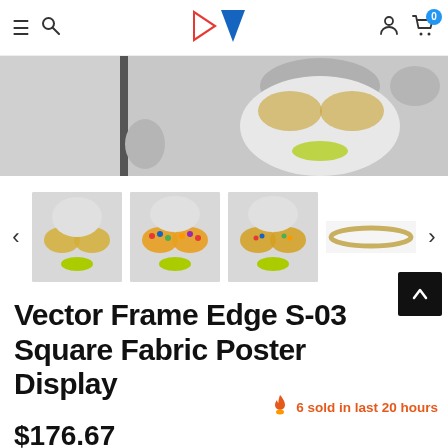DA logo navigation header with hamburger menu, search, user, and cart (0 items)
[Figure (photo): Main product image showing woman with large glittery round sunglasses and green lips, black and white photo, partially cropped]
[Figure (photo): Thumbnail strip showing three product photos of woman with glittery round sunglasses and green lips, plus an oval frame thumbnail, with left and right navigation arrows]
Vector Frame Edge S-03 Square Fabric Poster Display
6 sold in last 20 hours
$176.67